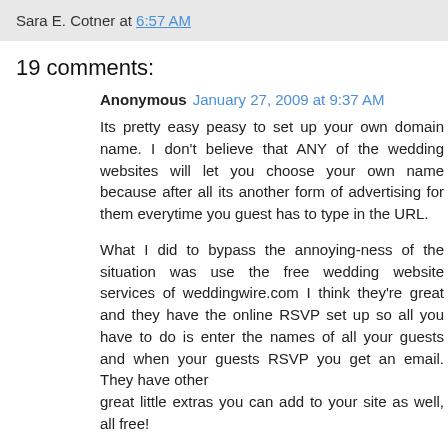Sara E. Cotner at 6:57 AM
19 comments:
Anonymous January 27, 2009 at 9:37 AM

Its pretty easy peasy to set up your own domain name. I don't believe that ANY of the wedding websites will let you choose your own name because after all its another form of advertising for them everytime you guest has to type in the URL.

What I did to bypass the annoying-ness of the situation was use the free wedding website services of weddingwire.com I think they're great and they have the online RSVP set up so all you have to do is enter the names of all your guests and when your guests RSVP you get an email. They have other great little extras you can add to your site as well, all free!

To get your own URL simply go to any hosting/domain